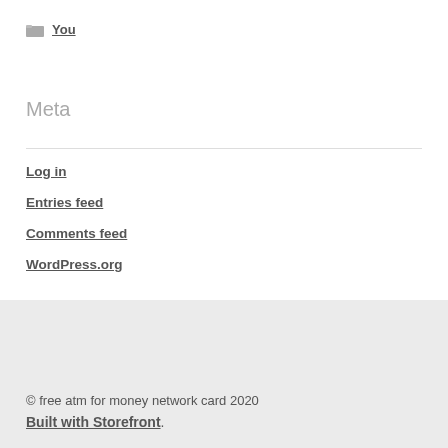You
Meta
Log in
Entries feed
Comments feed
WordPress.org
© free atm for money network card 2020
Built with Storefront.